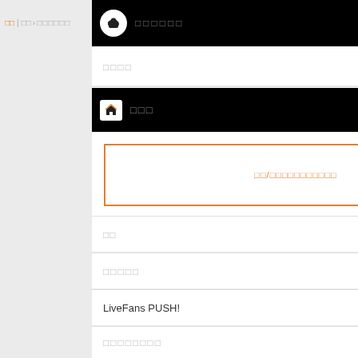ホーム　›　□□□□□□
□□□□
□□□
□□/□□□□□□□□□□□
□□
□□□□□
LiveFans PUSH!
□□□□□□□□
□□□□
□□□□
[Figure (screenshot): Concert photo with Japanese text チケット 反]
[Figure (screenshot): App promotion with letter e, iPhone/Android text]
[Figure (screenshot): Dark blue panel with ブ text, iPhone text]
[Figure (screenshot): Blue social media buttons (Twitter and Facebook)]
[Figure (logo): LiveFans PUSH! logo in orange and gray]